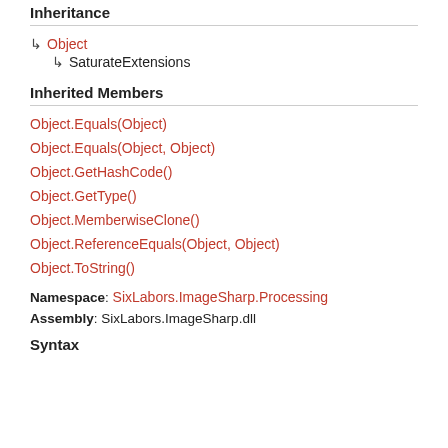Inheritance
↳ Object
↳ SaturateExtensions
Inherited Members
Object.Equals(Object)
Object.Equals(Object, Object)
Object.GetHashCode()
Object.GetType()
Object.MemberwiseClone()
Object.ReferenceEquals(Object, Object)
Object.ToString()
Namespace: SixLabors.ImageSharp.Processing
Assembly: SixLabors.ImageSharp.dll
Syntax